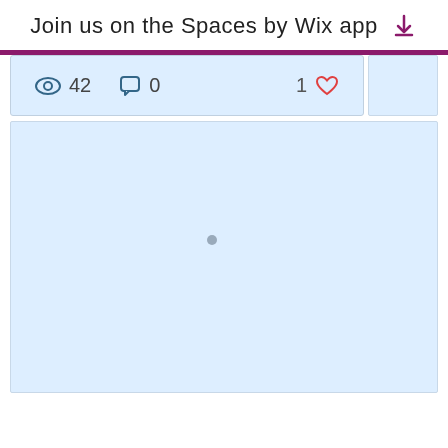Join us on the Spaces by Wix app
[Figure (screenshot): Social app UI showing stats bar with eye icon (42 views), comment icon (0 comments), and heart icon (1 like), followed by a light blue content area]
42  0  1